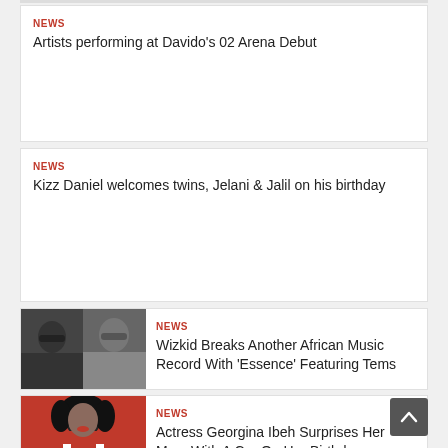NEWS
Artists performing at Davido's 02 Arena Debut
NEWS
Kizz Daniel welcomes twins, Jelani & Jalil on his birthday
[Figure (photo): Photo of two people wearing sunglasses]
NEWS
Wizkid Breaks Another African Music Record With 'Essence' Featuring Tems
[Figure (photo): Photo of a woman in red outfit with black curly hair]
NEWS
Actress Georgina Ibeh Surprises Her Mum With A Car On Her Birthday